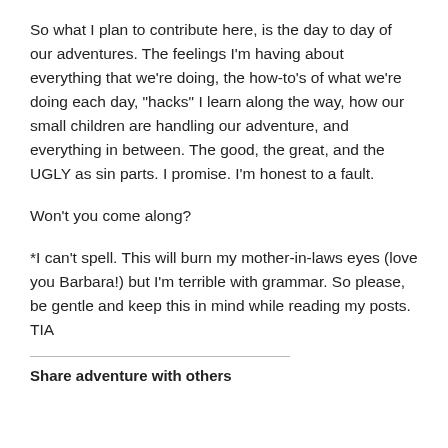So what I plan to contribute here, is the day to day of our adventures. The feelings I'm having about everything that we're doing, the how-to's of what we're doing each day, "hacks" I learn along the way, how our small children are handling our adventure, and everything in between. The good, the great, and the UGLY as sin parts. I promise. I'm honest to a fault.
Won't you come along?
*I can't spell. This will burn my mother-in-laws eyes (love you Barbara!) but I'm terrible with grammar. So please, be gentle and keep this in mind while reading my posts. TIA
Share adventure with others